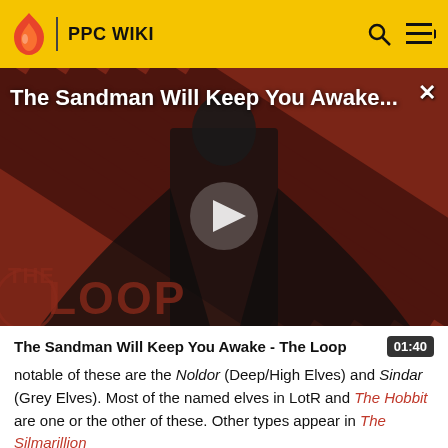PPC WIKI
[Figure (screenshot): Video thumbnail showing a dark-cloaked figure against a red and black diagonal stripe background, with 'The Sandman Will Keep You Awake...' title overlay and a play button. 'THE LOOP' logo visible in the lower left.]
The Sandman Will Keep You Awake - The Loop  01:40
notable of these are the Noldor (Deep/High Elves) and Sindar (Grey Elves). Most of the named elves in LotR and The Hobbit are one or the other of these. Other types appear in The Silmarillion